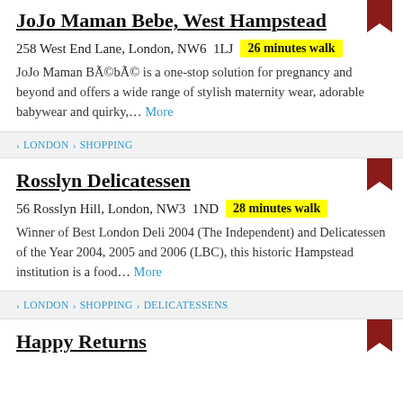JoJo Maman Bebe, West Hampstead
258 West End Lane, London, NW6 1LJ  26 minutes walk
JoJo Maman Bébé is a one-stop solution for pregnancy and beyond and offers a wide range of stylish maternity wear, adorable babywear and quirky,... More
LONDON > SHOPPING
Rosslyn Delicatessen
56 Rosslyn Hill, London, NW3 1ND  28 minutes walk
Winner of Best London Deli 2004 (The Independent) and Delicatessen of the Year 2004, 2005 and 2006 (LBC), this historic Hampstead institution is a food... More
LONDON > SHOPPING > DELICATESSENS
Happy Returns